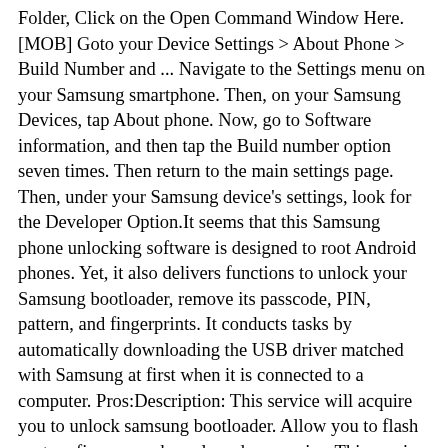Folder, Click on the Open Command Window Here. [MOB] Goto your Device Settings > About Phone > Build Number and ... Navigate to the Settings menu on your Samsung smartphone. Then, on your Samsung Devices, tap About phone. Now, go to Software information, and then tap the Build number option seven times. Then return to the main settings page. Then, under your Samsung device's settings, look for the Developer Option.It seems that this Samsung phone unlocking software is designed to root Android phones. Yet, it also delivers functions to unlock your Samsung bootloader, remove its passcode, PIN, pattern, and fingerprints. It conducts tasks by automatically downloading the USB driver matched with Samsung at first when it is connected to a computer. Pros:Description: This service will acquire you to unlock samsung bootloader. Allow you to flash custom firmwares, kernels and recoveries. This service will wipe the device entirely of all data, please remove your SD card, and backup all information that you may need, remove all accounts before service.Follow this guide to unlock the bootloader of your Samsung Galaxy A02s Step 1: Enable Developer Options Open the Settings app of your Samsung Galaxy A02s and then scroll down and tap on "About phone," and then tap on "Software information." Now tap on "Build number" 7 times until you see a "Developer mode has been enabled"message.In older Samsung smartphones procedure was. Unlock Bootloader>Flash modified firmware with Magisk>Flash TWRP recovery>format system, cache, art/dalvik cache and data partitions>flash stock firmware with ODIN>submit it to a clean...